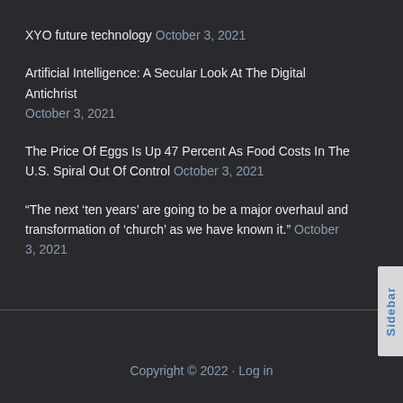XYO future technology October 3, 2021
Artificial Intelligence: A Secular Look At The Digital Antichrist October 3, 2021
The Price Of Eggs Is Up 47 Percent As Food Costs In The U.S. Spiral Out Of Control October 3, 2021
“The next ‘ten years’ are going to be a major overhaul and transformation of ‘church’ as we have known it.” October 3, 2021
Copyright © 2022 · Log in